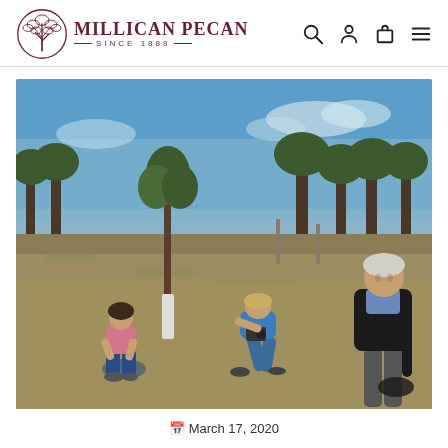Millican Pecan — Since 1888
[Figure (photo): Outdoor scene in a pecan orchard on a sunny day. Three people are present: a woman in a pink top crouching near a young tree on the left, a person in a blue shirt bent over with a camera in the center, and an older man in a black jacket and plaid shirt standing on the right smiling. The orchard has sparse grass and many pecan trees in the background under a blue sky.]
March 17, 2020